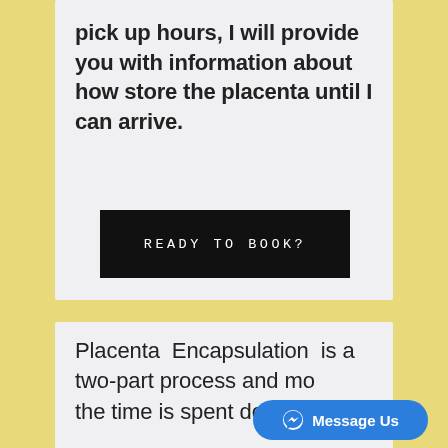pick up hours, I will provide you with information about how store the placenta until I can arrive.
[Figure (other): Black button with text 'READY TO BOOK?' in monospace white lettering]
Placenta Encapsulation is a two-part process and most of the time is spent dehydrating.
[Figure (other): Facebook Messenger 'Message Us' floating button in bottom right]